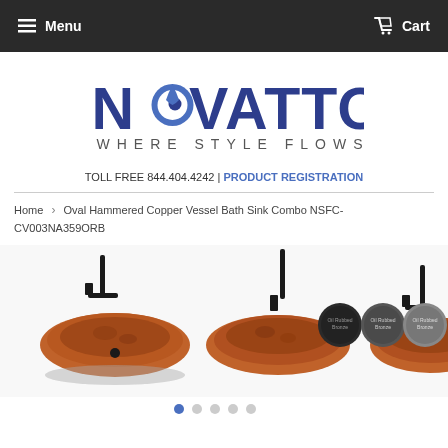Menu  Cart
[Figure (logo): Novatto logo with water drop in place of O, tagline WHERE STYLE FLOWS]
TOLL FREE 844.404.4242 | PRODUCT REGISTRATION
Home > Oval Hammered Copper Vessel Bath Sink Combo NSFC-CV003NA359ORB
[Figure (photo): Product images showing oval hammered copper vessel bath sinks with oil-rubbed bronze faucets, three main product views and three finish swatches]